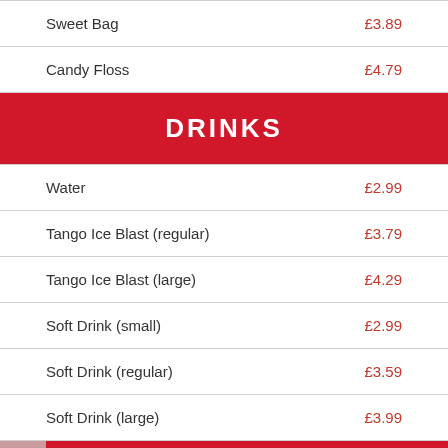Sweet Bag  £3.89
Candy Floss  £4.79
DRINKS
Water  £2.99
Tango Ice Blast (regular)  £3.79
Tango Ice Blast (large)  £4.29
Soft Drink (small)  £2.99
Soft Drink (regular)  £3.59
Soft Drink (large)  £3.99
COMBOS